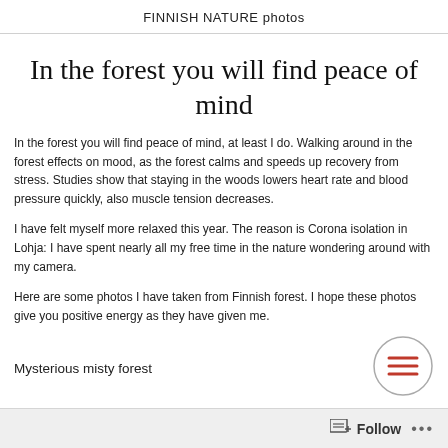FINNISH NATURE photos
In the forest you will find peace of mind
In the forest you will find peace of mind, at least I do. Walking around in the forest effects on mood, as the forest calms and speeds up recovery from stress. Studies show that staying in the woods lowers heart rate and blood pressure quickly, also muscle tension decreases.
I have felt myself more relaxed this year. The reason is Corona isolation in Lohja: I have spent nearly all my free time in the nature wondering around with my camera.
Here are some photos I have taken from Finnish forest. I hope these photos give you positive energy as they have given me.
Mysterious misty forest
[Figure (other): Hamburger menu icon — three horizontal red lines inside a circle with grey border]
Follow  ...